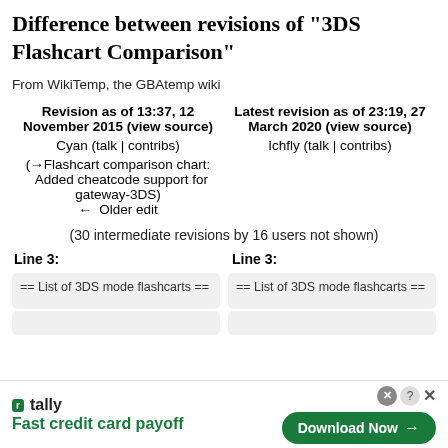Difference between revisions of "3DS Flashcart Comparison"
From WikiTemp, the GBAtemp wiki
| Revision as of 13:37, 12 November 2015 (view source) | Latest revision as of 23:19, 27 March 2020 (view source) |
| --- | --- |
| Cyan (talk | contribs) | Ichfly (talk | contribs) |
| (→Flashcart comparison chart: Added cheatcode support for gateway-3DS)
← Older edit |  |
(30 intermediate revisions by 16 users not shown)
Line 3:
Line 3:
== List of 3DS mode flashcarts ==
== List of 3DS mode flashcarts ==